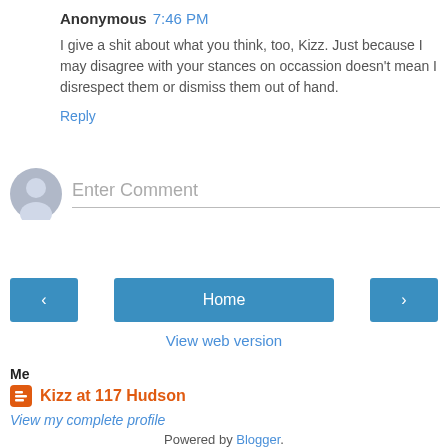Anonymous 7:46 PM
I give a shit about what you think, too, Kizz. Just because I may disagree with your stances on occassion doesn't mean I disrespect them or dismiss them out of hand.
Reply
Enter Comment
< Home >
View web version
Me
Kizz at 117 Hudson
View my complete profile
Powered by Blogger.